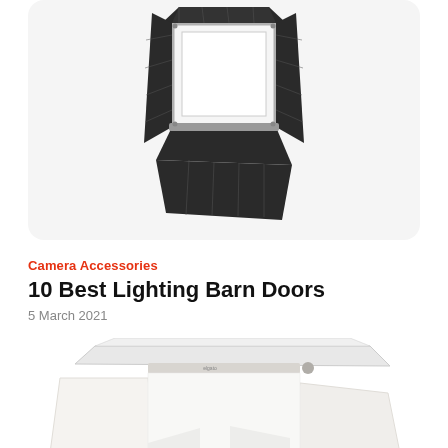[Figure (photo): A photography barn door light modifier accessory with four black adjustable flaps on a silver/chrome square frame, shown on white background inside a rounded-corner card.]
Camera Accessories
10 Best Lighting Barn Doors
5 March 2021
[Figure (photo): A white flat lay photography light box/studio with a top diffusion panel, two white side arms/stands, and reflective white panels, partially visible at bottom of page.]